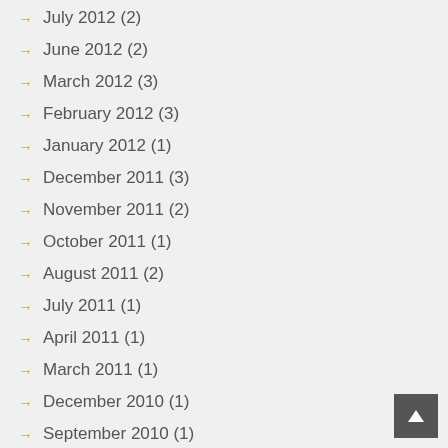July 2012 (2)
June 2012 (2)
March 2012 (3)
February 2012 (3)
January 2012 (1)
December 2011 (3)
November 2011 (2)
October 2011 (1)
August 2011 (2)
July 2011 (1)
April 2011 (1)
March 2011 (1)
December 2010 (1)
September 2010 (1)